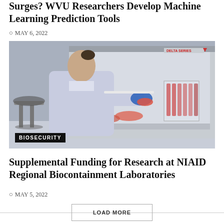Surges? WVU Researchers Develop Machine Learning Prediction Tools
MAY 6, 2022
[Figure (photo): A researcher in a lab coat and blue gloves working inside a biosafety cabinet (Delta Series), handling petri dishes and test tubes with red media. A lab stool is visible in the background. A 'BIOSECURITY' badge overlays the lower left corner of the image.]
Supplemental Funding for Research at NIAID Regional Biocontainment Laboratories
MAY 5, 2022
LOAD MORE